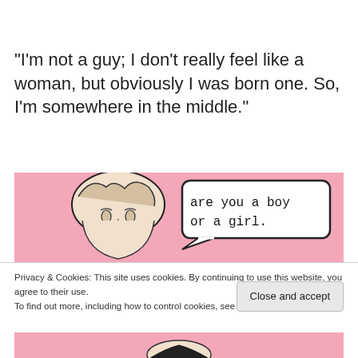“I’m not a guy; I don’t really feel like a woman, but obviously I was born one. So, I’m somewhere in the middle.”
[Figure (illustration): Comic-style cartoon on a pink background. A person is drawn in vintage illustration style. A speech bubble reads: 'are you a boy or a girl.']
Privacy & Cookies: This site uses cookies. By continuing to use this website, you agree to their use.
To find out more, including how to control cookies, see here: Cookie Policy
Close and accept